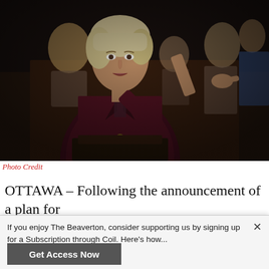[Figure (photo): A woman with blonde hair wearing a dark maroon blazer stands pointing with her right index finger, speaking in what appears to be a parliamentary chamber. Other people are seated in the background, including a man in a suit and tie visible on the right.]
Photo Credit
OTTAWA – Following the announcement of a plan for
If you enjoy The Beaverton, consider supporting us by signing up for a Subscription through Coil. Here's how...
Get Access Now